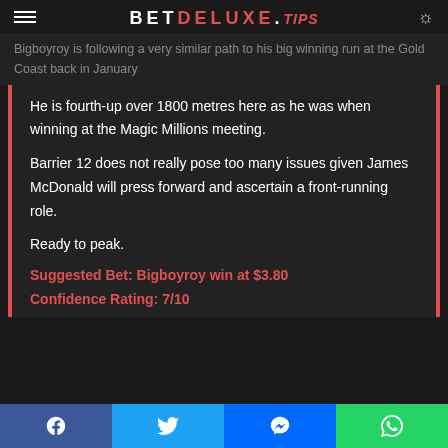BET DELUXE .TIPS
Bigboyroy is following a very similar path to his big winning run at the Gold Coast back in January
He is fourth-up over 1800 metres here as he was when winning at the Magic Millions meeting.
Barrier 12 does not really pose too many issues given James McDonald will press forward and ascertain a front-running role.
Ready to peak.
Suggested Bet: Bigboyroy win at $3.80
Confidence Rating: 7/10
Facebook | Twitter | Messenger | WhatsApp